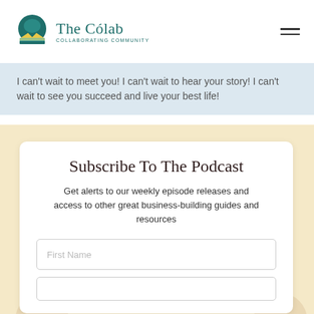[Figure (logo): The Cólab Collaborating Community logo with teal circular icon and teal text]
I can't wait to meet you! I can't wait to hear your story! I can't wait to see you succeed and live your best life!
Subscribe To The Podcast
Get alerts to our weekly episode releases and access to other great business-building guides and resources